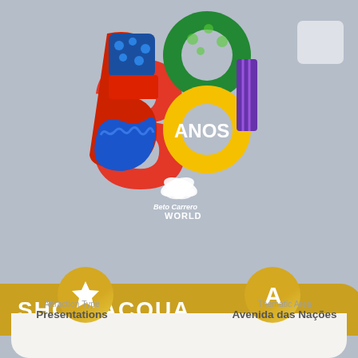[Figure (logo): Beto Carrero World 30 Anos colorful logo with large stylized '30' and 'ANOS' text in yellow circle, with butterfly emblem and 'Beto Carrero World' text below]
SHOW ACQUA
[Figure (infographic): Gold circle icon with white star symbol representing Attraction Type]
Attraction Type
Presentations
[Figure (infographic): Gold circle icon with white letter A representing Thematic Area]
Thematic Area
Avenida das Nações
[Figure (infographic): Gold circle icon with white clock symbol representing Schedules]
Schedules
15:00h